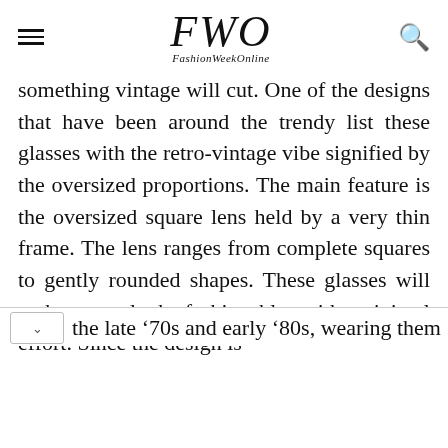FWO FashionWeekOnline
something vintage will cut. One of the designs that have been around the trendy list these glasses with the retro-vintage vibe signified by the oversized proportions. The main feature is the oversized square lens held by a very thin frame. The lens ranges from complete squares to gently rounded shapes. These glasses will make you look fashionable with minimal effort. Since the design is [from] the late ‘70s and early ‘80s, wearing them